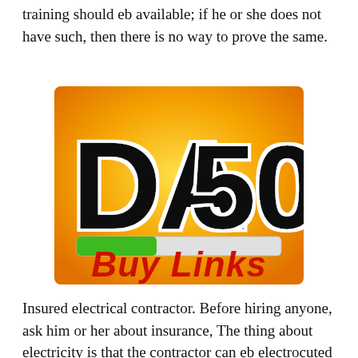training should eb available; if he or she does not have such, then there is no way to prove the same.
[Figure (illustration): Orange/yellow gradient square badge with large bold black text 'DA50', a green and white progress bar, and red bold italic text 'Buy Links' at the bottom.]
Insured electrical contractor. Before hiring anyone, ask him or her about insurance, The thing about electricity is that the contractor can eb electrocuted and if such happens, it means that you will be liable for everything; you will have to cater to his or her medical bill, something that will not leave